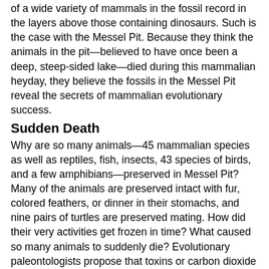of a wide variety of mammals in the fossil record in the layers above those containing dinosaurs. Such is the case with the Messel Pit. Because they think the animals in the pit—believed to have once been a deep, steep-sided lake—died during this mammalian heyday, they believe the fossils in the Messel Pit reveal the secrets of mammalian evolutionary success.
Sudden Death
Why are so many animals—45 mammalian species as well as reptiles, fish, insects, 43 species of birds, and a few amphibians—preserved in Messel Pit? Many of the animals are preserved intact with fur, colored feathers, or dinner in their stomachs, and nine pairs of turtles are preserved mating. How did their very activities get frozen in time? What caused so many animals to suddenly die? Evolutionary paleontologists propose that toxins or carbon dioxide bubbled up through the lake and ended their lives. The lack-of-oxygen hypothesis is called into question, however, by the presence in the Messel Pit of water-beetle larvae that can only survive in highly oxygenated water.¹ For that matter, even the idea that the Messel Pit was a lake is questionable